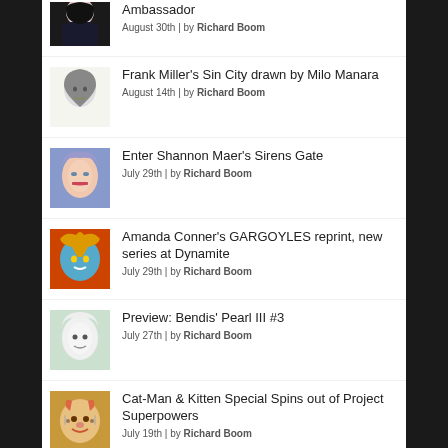Ambassador | August 30th | by Richard Boom
Frank Miller's Sin City drawn by Milo Manara | August 14th | by Richard Boom
Enter Shannon Maer's Sirens Gate | July 29th | by Richard Boom
Amanda Conner's GARGOYLES reprint, new series at Dynamite | July 29th | by Richard Boom
Preview: Bendis' Pearl III #3 | July 27th | by Richard Boom
Cat-Man & Kitten Special Spins out of Project Superpowers | July 19th | by Richard Boom